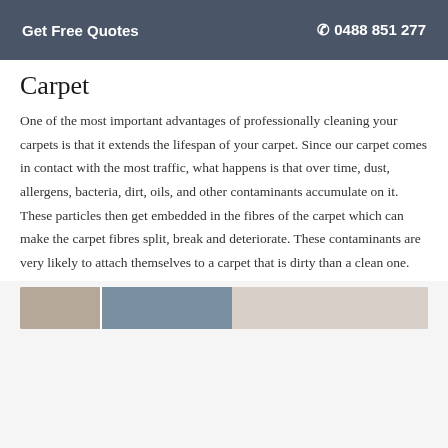Get Free Quotes   ☎ 0488 851 277
Carpet
One of the most important advantages of professionally cleaning your carpets is that it extends the lifespan of your carpet. Since our carpet comes in contact with the most traffic, what happens is that over time, dust, allergens, bacteria, dirt, oils, and other contaminants accumulate on it. These particles then get embedded in the fibres of the carpet which can make the carpet fibres split, break and deteriorate. These contaminants are very likely to attach themselves to a carpet that is dirty than a clean one.
[Figure (photo): Photo strip showing carpet cleaning images at the bottom of the page]